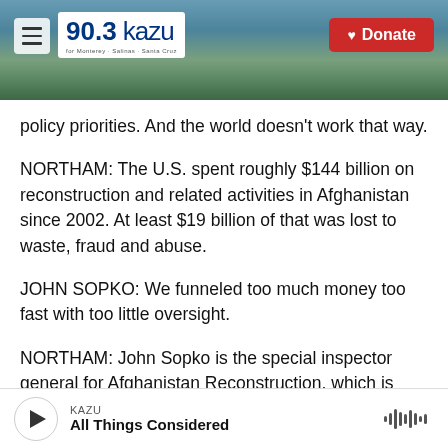[Figure (screenshot): KAZU 90.3 radio station header banner with hamburger menu icon, logo, coastal background photo, and red Donate button]
policy priorities. And the world doesn't work that way.
NORTHAM: The U.S. spent roughly $144 billion on reconstruction and related activities in Afghanistan since 2002. At least $19 billion of that was lost to waste, fraud and abuse.
JOHN SOPKO: We funneled too much money too fast with too little oversight.
NORTHAM: John Sopko is the special inspector general for Afghanistan Reconstruction, which is
KAZU — All Things Considered